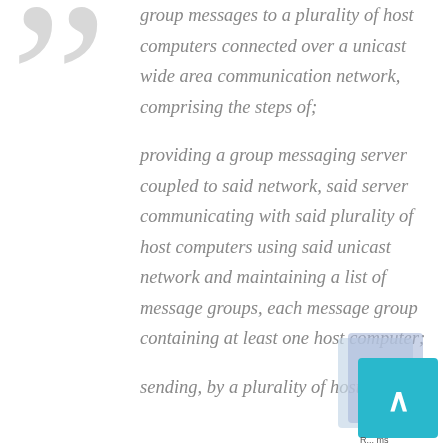group messages to a plurality of host computers connected over a unicast wide area communication network, comprising the steps of;
providing a group messaging server coupled to said network, said server communicating with said plurality of host computers using said unicast network and maintaining a list of message groups, each message group containing at least one host computer;
sending, by a plurality of host